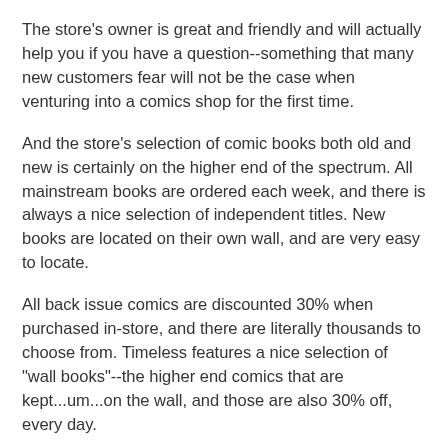The store's owner is great and friendly and will actually help you if you have a question--something that many new customers fear will not be the case when venturing into a comics shop for the first time.
And the store's selection of comic books both old and new is certainly on the higher end of the spectrum. All mainstream books are ordered each week, and there is always a nice selection of independent titles. New books are located on their own wall, and are very easy to locate.
All back issue comics are discounted 30% when purchased in-store, and there are literally thousands to choose from. Timeless features a nice selection of "wall books"--the higher end comics that are kept...um...on the wall, and those are also 30% off, every day.
Additionally, I'm told that the store's gaming selection is quite impressive and expansive, with some hard to find items. What's more, every Friday night is tournament night at the store's new gaming tables.